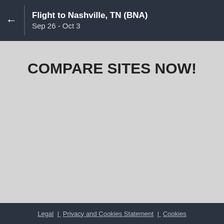Flight to Nashville, TN (BNA)
Sep 26 - Oct 3
COMPARE SITES NOW!
Legal | Privacy and Cookies Statement | Cookies